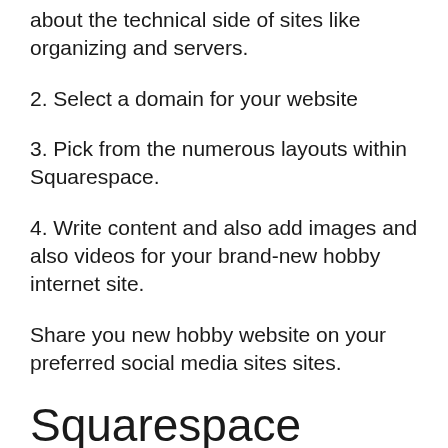about the technical side of sites like organizing and servers.
2. Select a domain for your website
3. Pick from the numerous layouts within Squarespace.
4. Write content and also add images and also videos for your brand-new hobby internet site.
Share you new hobby website on your preferred social media sites sites.
Squarespace Video